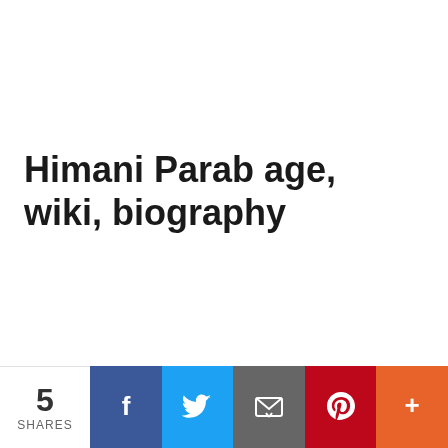Himani Parab age, wiki, biography
5 SHARES | Share on Facebook | Share on Twitter | Share via Email | Share on Pinterest | More